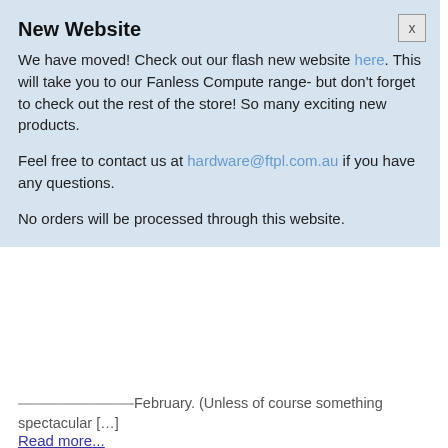New Website
We have moved! Check out our flash new website here. This will take you to our Fanless Compute range- but don't forget to check out the rest of the store! So many exciting new products.
Feel free to contact us at hardware@ftpl.com.au if you have any questions.
No orders will be processed through this website.
...and you won't hear from us again until the end of February. (Unless of course something spectacular […]
Read more...
To do with 2007
More ALIX 2 & 3 boards and cases
November 29, 2007  •  Leave a Comment